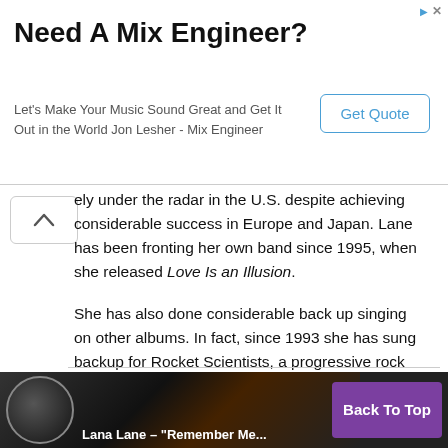[Figure (screenshot): Advertisement banner: 'Need A Mix Engineer? Let's Make Your Music Sound Great and Get It Out in the World Jon Lesher - Mix Engineer' with a 'Get Quote' button on the right.]
ely under the radar in the U.S. despite achieving considerable success in Europe and Japan. Lane has been fronting her own band since 1995, when she released Love Is an Illusion.
She has also done considerable back up singing on other albums. In fact, since 1993 she has sung backup for Rocket Scientists, a progressive rock band co-founded by her husband and producer Erik Norlander. He's also keyboardist on Lane's albums.
[Figure (screenshot): Bottom video thumbnail strip showing 'Lana Lane - "Remember Me..."' with a 'Back To Top' purple button on the right.]